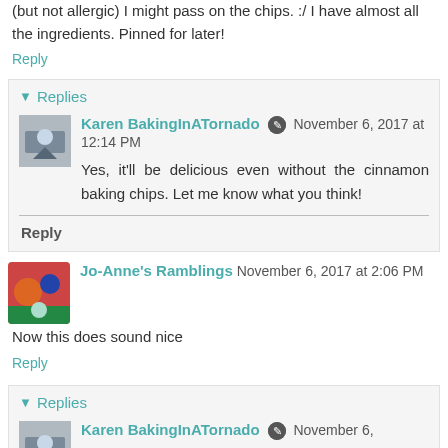(but not allergic) I might pass on the chips. :/ I have almost all the ingredients. Pinned for later!
Reply
Replies
Karen BakingInATornado  November 6, 2017 at 12:14 PM
Yes, it'll be delicious even without the cinnamon baking chips. Let me know what you think!
Reply
Jo-Anne's Ramblings  November 6, 2017 at 2:06 PM
Now this does sound nice
Reply
Replies
Karen BakingInATornado  November 6,